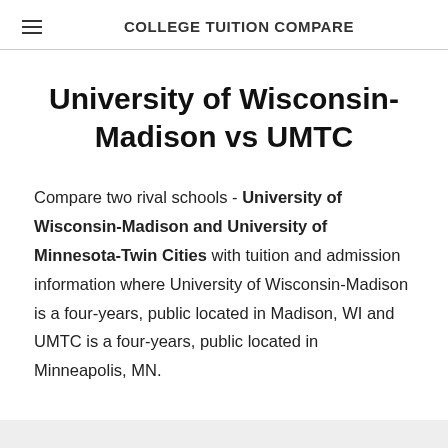COLLEGE TUITION COMPARE
University of Wisconsin-Madison vs UMTC
Compare two rival schools - University of Wisconsin-Madison and University of Minnesota-Twin Cities with tuition and admission information where University of Wisconsin-Madison is a four-years, public located in Madison, WI and UMTC is a four-years, public located in Minneapolis, MN.